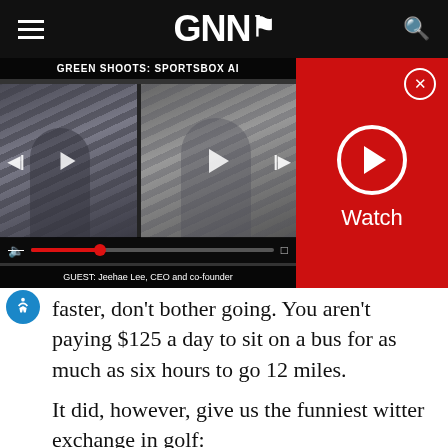GNN
[Figure (screenshot): Video player showing 'GREEN SHOOTS: SPORTSBOX AI' with two video frames side by side. Left frame shows a woman in striped shirt, right frame shows a man. Below is a caption bar reading 'GUEST: Jeehae Lee, CEO and co-founder'. A red panel on the right shows a Watch button with play icon.]
faster, don't bother going. You aren't paying $125 a day to sit on a bus for as much as six hours to go 12 miles.
It did, however, give us the funniest witter exchange in golf:
Alan Shipnuck: “And now my shuttle bus has broken down.”
Dan Jenkins: “Oh good. I’ll moon you as